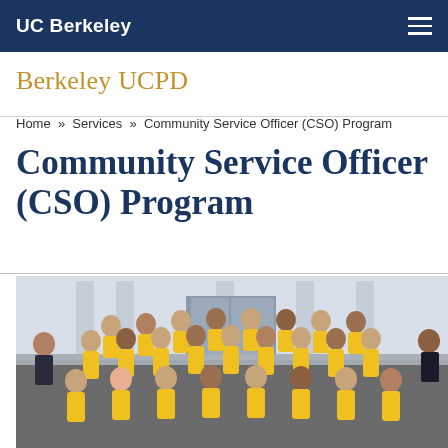UC Berkeley
Berkeley UCPD
Home » Services » Community Service Officer (CSO) Program
Community Service Officer (CSO) Program
[Figure (photo): Group photo of approximately 25 Community Service Officers in yellow polo shirts with two uniformed police officers in dark uniforms, standing on steps in front of a building at UC Berkeley campus.]